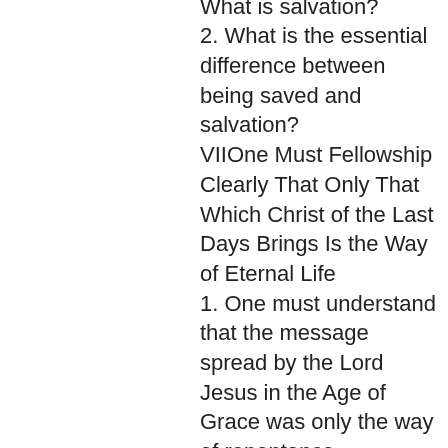1. What is being saved? What is salvation?
2. What is the essential difference between being saved and salvation?
VIIOne Must Fellowship Clearly That Only That Which Christ of the Last Days Brings Is the Way of Eternal Life
1. One must understand that the message spread by the Lord Jesus in the Age of Grace was only the way of repentance.
2. One must understand that all the truth expressed by God in the last days is the way of eternal life.
3. One must recognize the difference between the way of repentance in the Age of Grace